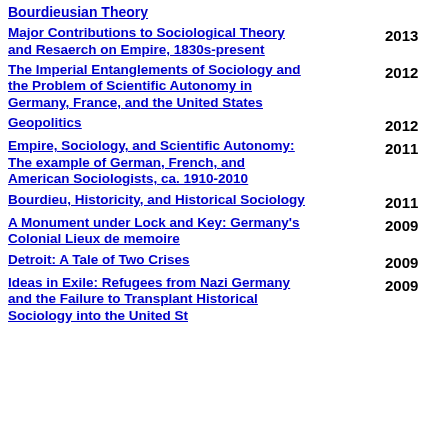Bourdieusian Theory
Major Contributions to Sociological Theory and Resaerch on Empire, 1830s-present 2013
The Imperial Entanglements of Sociology and the Problem of Scientific Autonomy in Germany, France, and the United States 2012
Geopolitics 2012
Empire, Sociology, and Scientific Autonomy: The example of German, French, and American Sociologists, ca. 1910-2010 2011
Bourdieu, Historicity, and Historical Sociology 2011
A Monument under Lock and Key: Germany's Colonial Lieux de memoire 2009
Detroit: A Tale of Two Crises 2009
Ideas in Exile: Refugees from Nazi Germany and the Failure to Transplant Historical Sociology into the United States 2009